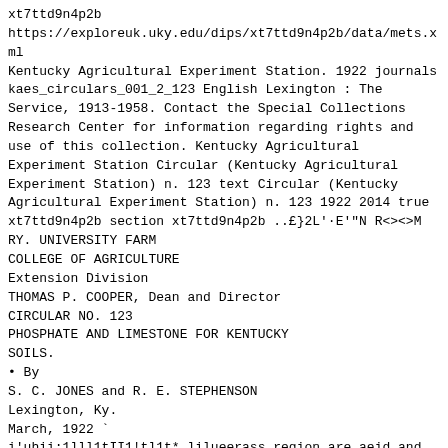xt7ttd9n4p2b
https://exploreuk.uky.edu/dips/xt7ttd9n4p2b/data/mets.xml
Kentucky Agricultural Experiment Station. 1922 journals
kaes_circulars_001_2_123 English Lexington : The
Service, 1913-1958. Contact the Special Collections
Research Center for information regarding rights and
use of this collection. Kentucky Agricultural
Experiment Station Circular (Kentucky Agricultural
Experiment Station) n. 123 text Circular (Kentucky
Agricultural Experiment Station) n. 123 1922 2014 true
xt7ttd9n4p2b section xt7ttd9n4p2b ..£}2L'·E'"N R<><>M
RY. UNIVERSITY FARM
COLLEGE OF AGRICULTURE
Extension Division
THOMAS P. COOPER, Dean and Director
CIRCULAR NO. 123
PHOSPHATE AND LIMESTONE FOR KENTUCKY
SOILS.
• By
S. C. JONES and R. E. STEPHENSON
Lexington, Ky.
March, 1922 `
i'uhii:1lll1tII1!tl1t* lilueerass region are aeid and
are naturally
tleIio·ient in phosphorus. More than half ot tl1e soils
within the
lilnegrass region respond prolitaldy to phosphate
treatment,
1'erhaps more than halt` ol` the liluegrass soils would
respond.